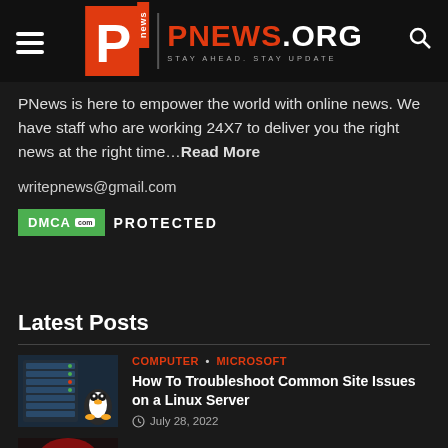PNEWS.ORG — STAY AHEAD. STAY UPDATE
PNews is here to empower the world with online news. We have staff who are working 24X7 to deliver you the right news at the right time…Read More
writepnews@gmail.com
[Figure (logo): DMCA PROTECTED badge with green background]
Latest Posts
[Figure (photo): Server racks with Linux penguin mascot thumbnail]
COMPUTER • MICROSOFT
How To Troubleshoot Common Site Issues on a Linux Server
July 28, 2022